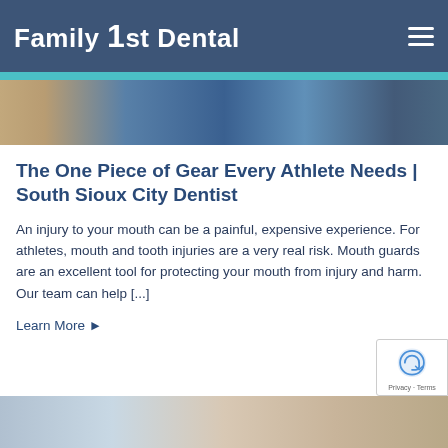Family 1st Dental
[Figure (photo): Partial photo of an athlete in a blue jersey, cropped to show upper body area]
The One Piece of Gear Every Athlete Needs | South Sioux City Dentist
An injury to your mouth can be a painful, expensive experience. For athletes, mouth and tooth injuries are a very real risk. Mouth guards are an excellent tool for protecting your mouth from injury and harm. Our team can help [...]
Learn More ▶
[Figure (photo): Bottom portion of page showing partial photo of a person, cropped]
Privacy · Terms